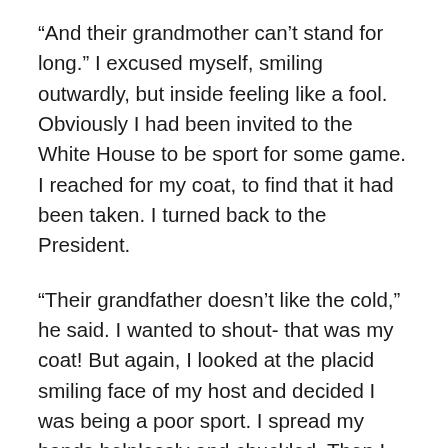“And their grandmother can’t stand for long.” I excused myself, smiling outwardly, but inside feeling like a fool. Obviously I had been invited to the White House to be sport for some game. I reached for my coat, to find that it had been taken. I turned back to the President.
“Their grandfather doesn’t like the cold,” he said. I wanted to shout- that was my coat! But again, I looked at the placid smiling face of my host and decided I was being a poor sport. I spread my hands helplessly and chuckled. Then I felt my hip pocket and realized my wallet was gone. I excused myself and walked to a phone on an elegant side table. I learned shortly that my credit cards had been maxed out, my bank accounts emptied, my retirement and equity portfolios had vanished, and my wife had been thrown out of our home. Apparently, the waiters and their families were moving in. The President hadn’t moved or